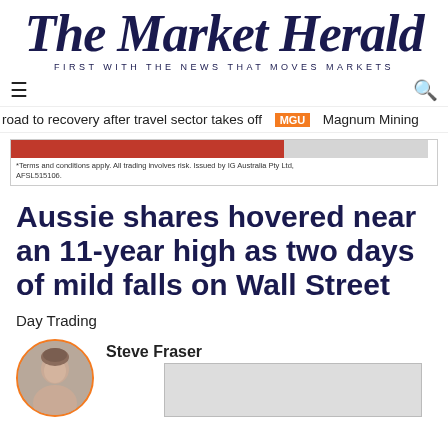The Market Herald
FIRST WITH THE NEWS THAT MOVES MARKETS
road to recovery after travel sector takes off  MGU  Magnum Mining
[Figure (screenshot): Advertisement banner with red and grey bars and disclaimer text: *Terms and conditions apply. All trading involves risk. Issued by IG Australia Pty Ltd, AFSL515106.]
Aussie shares hovered near an 11-year high as two days of mild falls on Wall Street
Day Trading
Steve Fraser